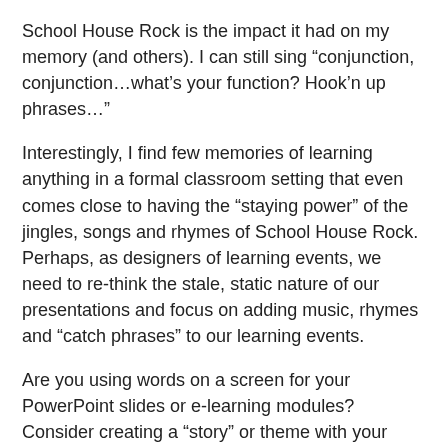School House Rock is the impact it had on my memory (and others). I can still sing “conjunction, conjunction…what’s your function? Hook’n up phrases…”
Interestingly, I find few memories of learning anything in a formal classroom setting that even comes close to having the “staying power” of the jingles, songs and rhymes of School House Rock. Perhaps, as designers of learning events, we need to re-think the stale, static nature of our presentations and focus on adding music, rhymes and “catch phrases” to our learning events.
Are you using words on a screen for your PowerPoint slides or e-learning modules? Consider creating a “story” or theme with your presentation, add some royalty free music to your e-learning module, add audio of sounds, not just your typical stale, static narrator but bells and whistles. Add life to your e-learning. Follow the lead of the School House Rock folks… they knew how to conduct training.
Another person that knew how to conduct effective training is guitarist Dewey Finn (played by Jack Black) in the movie